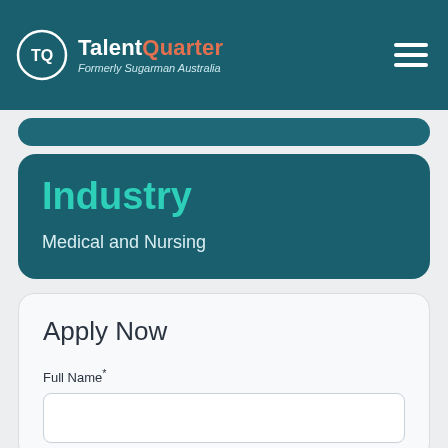TQ TalentQuarter — Formerly Sugarman Australia
Industry
Medical and Nursing
Apply Now
Full Name*